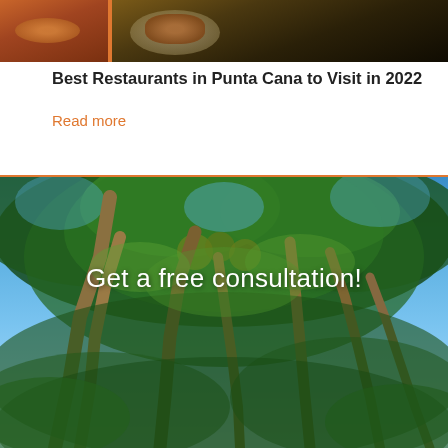[Figure (photo): Two thumbnail food images showing restaurant dishes from Punta Cana, partially cropped at top]
Best Restaurants in Punta Cana to Visit in 2022
Read more
[Figure (photo): Palm trees photographed from below looking up at the sky, lush green tropical coconut palms against a bright blue sky, with the text 'Get a free consultation!' overlaid in white]
Get a free consultation!